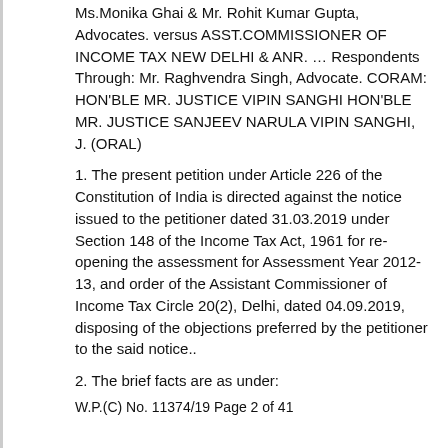Ms.Monika Ghai & Mr. Rohit Kumar Gupta, Advocates. versus ASST.COMMISSIONER OF INCOME TAX NEW DELHI & ANR. … Respondents Through: Mr. Raghvendra Singh, Advocate. CORAM: HON'BLE MR. JUSTICE VIPIN SANGHI HON'BLE MR. JUSTICE SANJEEV NARULA VIPIN SANGHI, J. (ORAL)
1. The present petition under Article 226 of the Constitution of India is directed against the notice issued to the petitioner dated 31.03.2019 under Section 148 of the Income Tax Act, 1961 for re-opening the assessment for Assessment Year 2012-13, and order of the Assistant Commissioner of Income Tax Circle 20(2), Delhi, dated 04.09.2019, disposing of the objections preferred by the petitioner to the said notice..
2. The brief facts are as under:
W.P.(C) No. 11374/19 Page 2 of 41